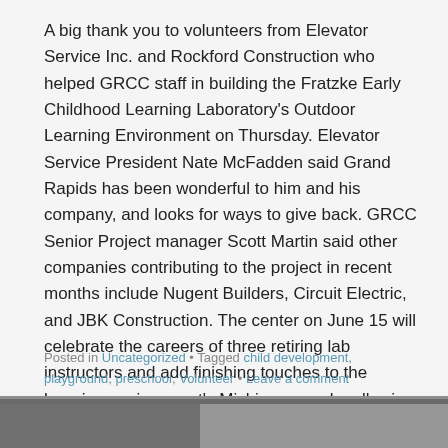A big thank you to volunteers from Elevator Service Inc. and Rockford Construction who helped GRCC staff in building the Fratzke Early Childhood Learning Laboratory's Outdoor Learning Environment on Thursday. Elevator Service President Nate McFadden said Grand Rapids has been wonderful to him and his company, and looks for ways to give back. GRCC Senior Project manager Scott Martin said other companies contributing to the project in recent months include Nugent Builders, Circuit Electric, and JBK Construction. The center on June 15 will celebrate the careers of three retiring lab instructors and add finishing touches to the learning environment's Michigan map by allowing guests to bring a favorite stone and place it in the map's slow-curing concrete.
Posted in Uncategorized • Tagged child development, playground, preschool, Volunteer • Leave a comment
[Figure (photo): Partial view of a photo at the bottom of the page, appears to show an outdoor scene, mostly cropped]